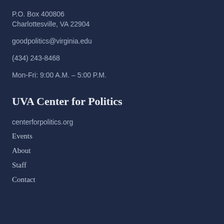P.O. Box 400806
Charlottesville, VA 22904
goodpolitics@virginia.edu
(434) 243-8468
Mon-Fri: 9:00 A.M. – 5:00 P.M.
UVA Center for Politics
centerforpolitics.org
Events
About
Staff
Contact